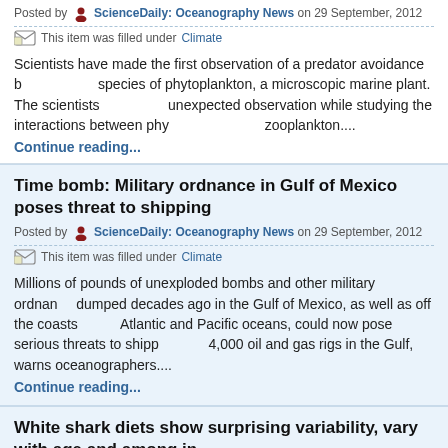Posted by ScienceDaily: Oceanography News on 29 September, 2012
This item was filled under Climate
Scientists have made the first observation of a predator avoidance behavior in a species of phytoplankton, a microscopic marine plant. The scientists made this unexpected observation while studying the interactions between phytoplankton and zooplankton....
Continue reading...
Time bomb: Military ordnance in Gulf of Mexico poses threat to shipping
Posted by ScienceDaily: Oceanography News on 29 September, 2012
This item was filled under Climate
Millions of pounds of unexploded bombs and other military ordnance dumped decades ago in the Gulf of Mexico, as well as off the coasts of the Atlantic and Pacific oceans, could now pose serious threats to shipping and 4,000 oil and gas rigs in the Gulf, warns oceanographers....
Continue reading...
White shark diets show surprising variability, vary with age and among individuals